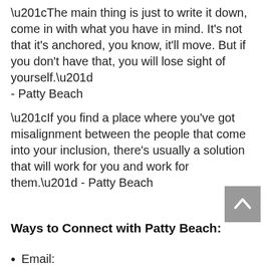“The main thing is just to write it down, come in with what you have in mind. It’s not that it’s anchored, you know, it’ll move. But if you don’t have that, you will lose sight of yourself.” - Patty Beach
“If you find a place where you’ve got misalignment between the people that come into your inclusion, there’s usually a solution that will work for you and work for them.” - Patty Beach
Ways to Connect with Patty Beach:
Email: